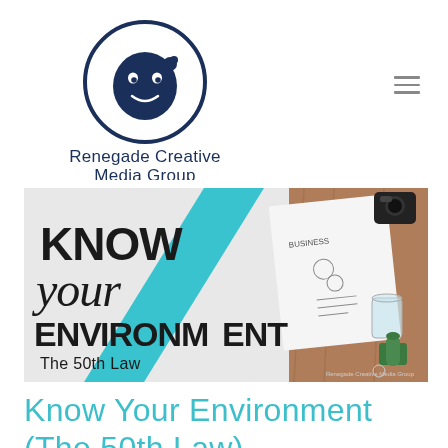[Figure (logo): Renegade Creative Media Group logo: dark navy circle with a smiling ninja face icon, and text 'Renegade Creative Media Group' below in dark navy sans-serif font]
[Figure (illustration): Banner image with text 'KNOW your ENVIRONMENT The 50th Law' on left side over grey background, a teal diagonal stripe in the middle, and a desk flatlay photo on the right with a notebook showing business doodles, camera, glass, and plant. Bottom right corner reads 'Renegade Creative Media Group']
Know Your Environment (The 50th Law)